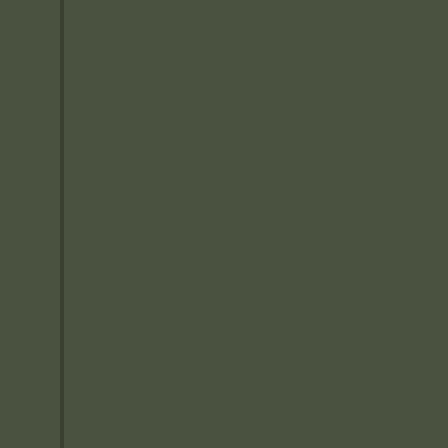Sequential number grid from 62440 to 63258, arranged in rows of approximately 7 numbers each, displayed on a dark olive green background with yellow-green numbers.